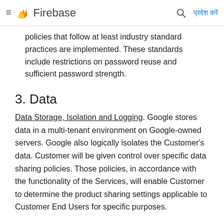Firebase
policies that follow at least industry standard practices are implemented. These standards include restrictions on password reuse and sufficient password strength.
3. Data
Data Storage, Isolation and Logging. Google stores data in a multi-tenant environment on Google-owned servers. Google also logically isolates the Customer's data. Customer will be given control over specific data sharing policies. Those policies, in accordance with the functionality of the Services, will enable Customer to determine the product sharing settings applicable to Customer End Users for specific purposes.
4. Personnel Security